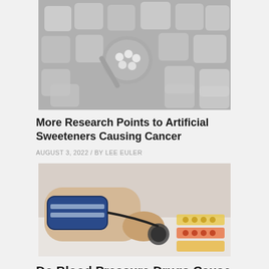[Figure (photo): Black and white photo of heart-shaped sugar cubes with a spoon holding small white round tablets/sweetener pills on top of sugar cubes.]
More Research Points to Artificial Sweeteners Causing Cancer
AUGUST 3, 2022 / BY LEE EULER
[Figure (photo): Color photo of a person's arm wearing a blue blood pressure cuff with a stethoscope being held, with blister packs of medication visible in the background on a white table.]
Do Blood Pressure Drugs Cause Breast